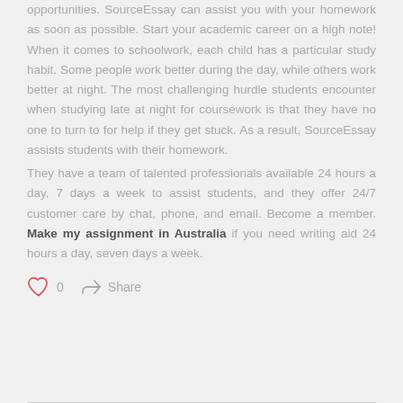opportunities. SourceEssay can assist you with your homework as soon as possible. Start your academic career on a high note! When it comes to schoolwork, each child has a particular study habit. Some people work better during the day, while others work better at night. The most challenging hurdle students encounter when studying late at night for coursework is that they have no one to turn to for help if they get stuck. As a result, SourceEssay assists students with their homework.
They have a team of talented professionals available 24 hours a day, 7 days a week to assist students, and they offer 24/7 customer care by chat, phone, and email. Become a member. Make my assignment in Australia if you need writing aid 24 hours a day, seven days a week.
0  Share